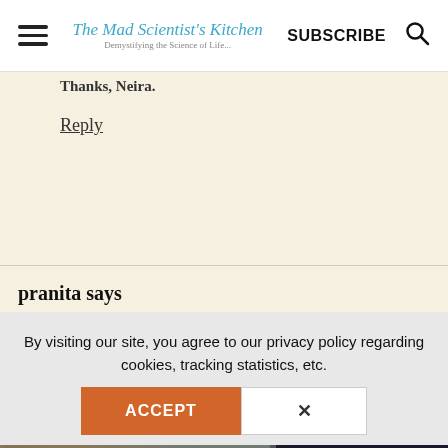The Mad Scientist's Kitchen | SUBSCRIBE
Thanks, Neira.
Reply
pranita says
February 19, 2019 at 9:15 pm
By visiting our site, you agree to our privacy policy regarding cookies, tracking statistics, etc.
[Figure (screenshot): Orange ACCEPT button and X close button for privacy/cookie consent banner]
[Figure (photo): Advertisement banner showing an airplane being loaded with cargo, with text WITHOUT REGARD TO POLITICS, RELIGION, OR ABILITY TO PAY on the right side]